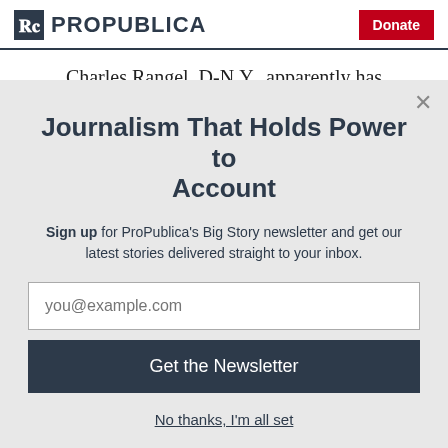ProPublica — Donate
Charles Rangel, D-N.Y., apparently has
Journalism That Holds Power to Account
Sign up for ProPublica's Big Story newsletter and get our latest stories delivered straight to your inbox.
you@example.com
Get the Newsletter
No thanks, I'm all set
This site is protected by reCAPTCHA and the Google Privacy Policy and Terms of Service apply.